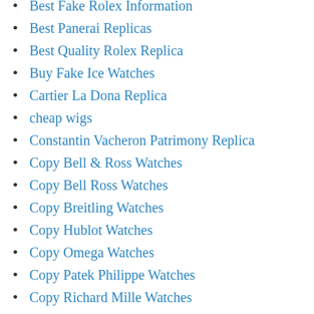Best Fake Rolex Information
Best Panerai Replicas
Best Quality Rolex Replica
Buy Fake Ice Watches
Cartier La Dona Replica
cheap wigs
Constantin Vacheron Patrimony Replica
Copy Bell & Ross Watches
Copy Bell Ross Watches
Copy Breitling Watches
Copy Hublot Watches
Copy Omega Watches
Copy Patek Philippe Watches
Copy Richard Mille Watches
Copy Tag Heuer Watches
Dhgate Rolex Replica